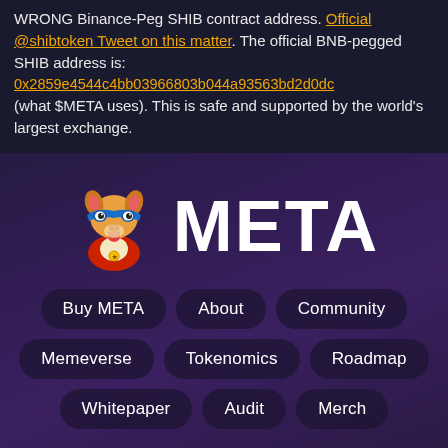WRONG Binance-Peg SHIB contract address. Official @shibtoken Tweet on this matter. The official BNB-pegged SHIB address is: 0x2859e4544c4bb03966803b044a93563bd2d0dc (what $META uses). This is safe and supported by the world's largest exchange.
[Figure (logo): META token logo with a Shiba Inu dog mascot wearing a blue superhero mask and red outfit, next to the word META in large white bold text]
Buy META
About
Community
Memeverse
Tokenomics
Roadmap
Whitepaper
Audit
Merch